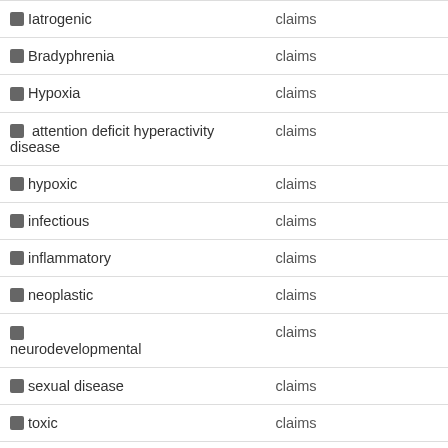| Term | Type |
| --- | --- |
| Iatrogenic | claims |
| Bradyphrenia | claims |
| Hypoxia | claims |
| attention deficit hyperactivity disease | claims |
| hypoxic | claims |
| infectious | claims |
| inflammatory | claims |
| neoplastic | claims |
| neurodevelopmental | claims |
| sexual disease | claims |
| toxic | claims |
| toxic | claims |